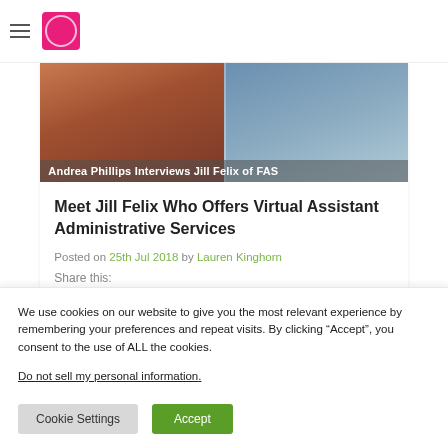[Figure (photo): Two women photographed side by side with text overlay 'Andrea Phillips Interviews Jill Felix of FAS']
Meet Jill Felix Who Offers Virtual Assistant Administrative Services
Posted on 25th Jul 2018 by Lauren Kinghorn
Share this:
We use cookies on our website to give you the most relevant experience by remembering your preferences and repeat visits. By clicking “Accept”, you consent to the use of ALL the cookies.
Do not sell my personal information.